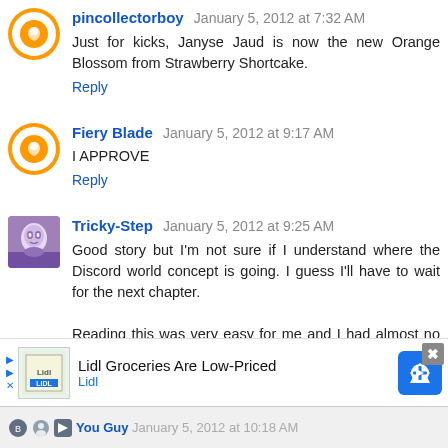pincollectorboy January 5, 2012 at 7:32 AM
Just for kicks, Janyse Jaud is now the new Orange Blossom from Strawberry Shortcake.
Reply
Fiery Blade January 5, 2012 at 9:17 AM
I APPROVE
Reply
Tricky-Step January 5, 2012 at 9:25 AM
Good story but I'm not sure if I understand where the Discord world concept is going. I guess I'll have to wait for the next chapter.

Reading this was very easy for me and I had almost no issues with it, only a few typos. I'll be anticipating the next chapter :)
Reply
Lidl Groceries Are Low-Priced
Lidl
You Guy January 5, 2012 at 10:18 AM